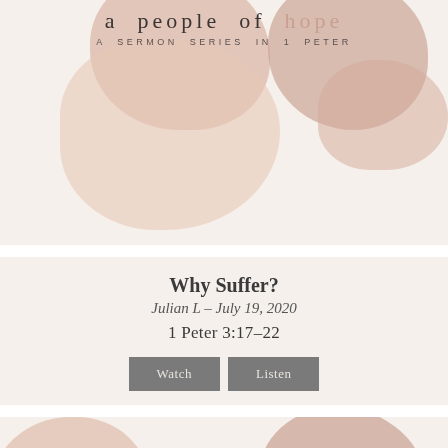[Figure (illustration): Sermon series card image showing abstract watercolor blobs in muted pink/rose tones with text 'a people of hope' and 'A SERMON SERIES IN 1 PETER' (top, partially visible)]
Why Suffer?
Julian L – July 19, 2020
1 Peter 3:17-22
Watch   Listen
[Figure (illustration): Sermon series card image showing abstract watercolor blobs in muted pink/rose/tan tones with text 'a people of hope' and 'A SERMON SERIES IN 1 PETER' (bottom, partially cut off)]